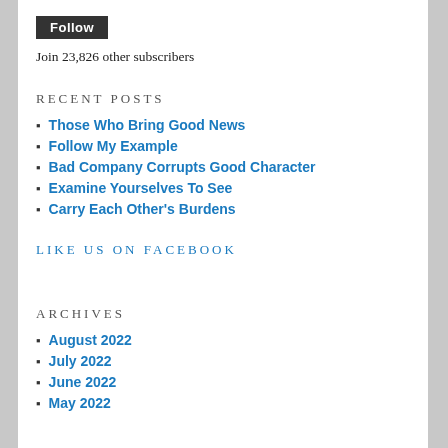[Figure (other): Follow button — dark rectangular button with white text 'Follow']
Join 23,826 other subscribers
RECENT POSTS
Those Who Bring Good News
Follow My Example
Bad Company Corrupts Good Character
Examine Yourselves To See
Carry Each Other's Burdens
LIKE US ON FACEBOOK
ARCHIVES
August 2022
July 2022
June 2022
May 2022